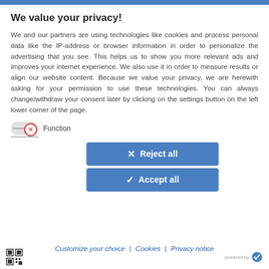We value your privacy!
We and our partners are using technologies like cookies and process personal data like the IP-address or browser information in order to personalize the advertising that you see. This helps us to show you more relevant ads and improves your internet experience. We also use it in order to measure results or align our website content. Because we value your privacy, we are herewith asking for your permission to use these technologies. You can always change/withdraw your consent later by clicking on the settings button on the left lower corner of the page.
Function
✕ Reject all
✓ Accept all
Customize your choice | Cookies | Privacy notice
powered by